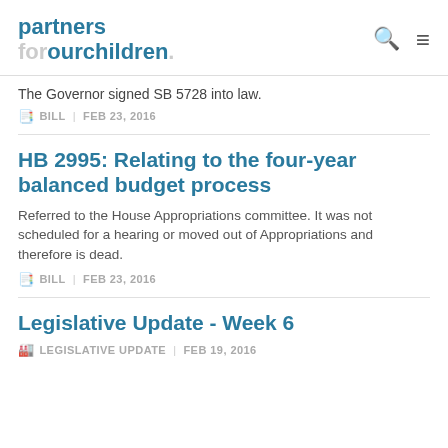partners forourchildren
The Governor signed SB 5728 into law.
BILL | FEB 23, 2016
HB 2995: Relating to the four-year balanced budget process
Referred to the House Appropriations committee. It was not scheduled for a hearing or moved out of Appropriations and therefore is dead.
BILL | FEB 23, 2016
Legislative Update - Week 6
LEGISLATIVE UPDATE | FEB 19, 2016